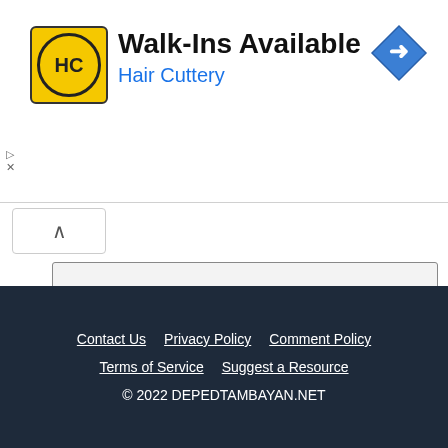[Figure (logo): Hair Cuttery advertisement banner with HC logo, text 'Walk-Ins Available' and 'Hair Cuttery' in blue, with a blue diamond-shaped navigation arrow icon on the right]
Name *
Email *
Post Comment
Contact Us   Privacy Policy   Comment Policy   Terms of Service   Suggest a Resource   © 2022 DEPEDTAMBAYAN.NET